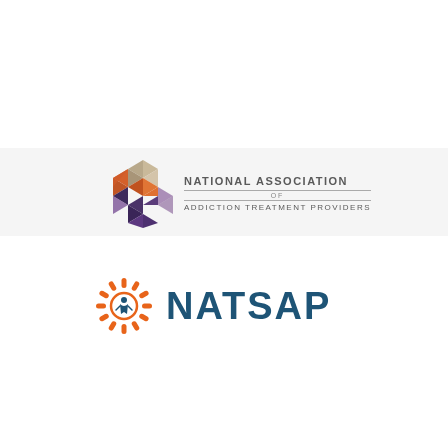[Figure (logo): National Association of Addiction Treatment Providers (NAATP) logo: geometric hexagon made of colored triangular facets in orange, dark purple, and gray/beige tones, next to text 'NATIONAL ASSOCIATION OF ADDICTION TREATMENT PROVIDERS']
[Figure (logo): NATSAP logo: orange sunburst/radial icon with a person figure in the center, next to bold dark teal text 'NATSAP']